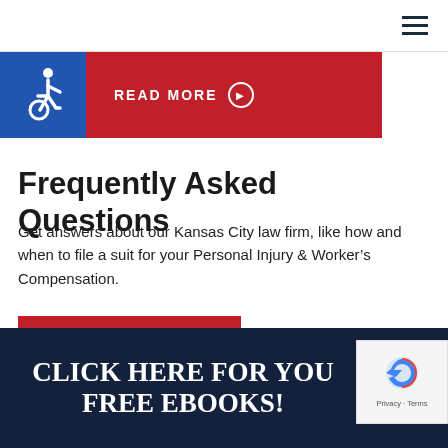Navigation bar with hamburger menu icon
[Figure (other): Blue accessibility (wheelchair) icon block on the left, and red READ MORE button with arrow circle on the right]
Frequently Asked Questions
Get answers about our Kansas City law firm, like how and when to file a suit for your Personal Injury & Worker's Compensation.
VIEW ALL FAQ'S
CLICK HERE FOR YOUR FREE EBOOKS!